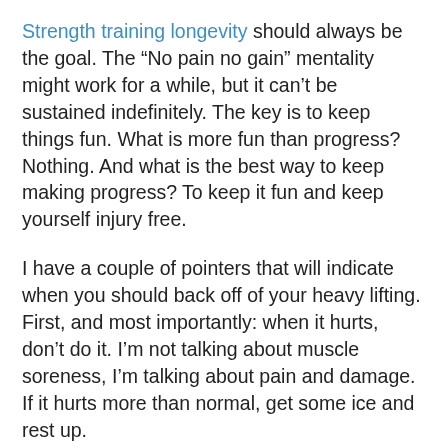Strength training longevity should always be the goal. The “No pain no gain” mentality might work for a while, but it can’t be sustained indefinitely. The key is to keep things fun. What is more fun than progress? Nothing. And what is the best way to keep making progress? To keep it fun and keep yourself injury free.
I have a couple of pointers that will indicate when you should back off of your heavy lifting. First, and most importantly: when it hurts, don’t do it. I’m not talking about muscle soreness, I’m talking about pain and damage. If it hurts more than normal, get some ice and rest up.
Second, if you don’t want to train, that’s probably a clue. Take a week off, eat a lot of good food, and